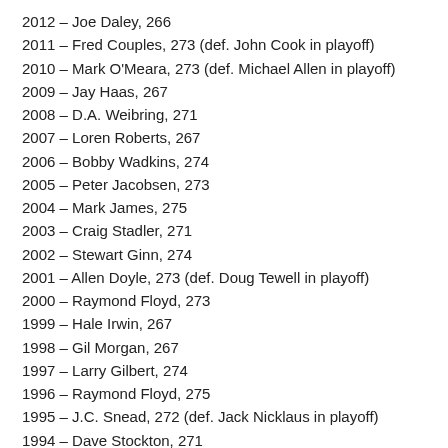2012 – Joe Daley, 266
2011 – Fred Couples, 273 (def. John Cook in playoff)
2010 – Mark O'Meara, 273 (def. Michael Allen in playoff)
2009 – Jay Haas, 267
2008 – D.A. Weibring, 271
2007 – Loren Roberts, 267
2006 – Bobby Wadkins, 274
2005 – Peter Jacobsen, 273
2004 – Mark James, 275
2003 – Craig Stadler, 271
2002 – Stewart Ginn, 274
2001 – Allen Doyle, 273 (def. Doug Tewell in playoff)
2000 – Raymond Floyd, 273
1999 – Hale Irwin, 267
1998 – Gil Morgan, 267
1997 – Larry Gilbert, 274
1996 – Raymond Floyd, 275
1995 – J.C. Snead, 272 (def. Jack Nicklaus in playoff)
1994 – Dave Stockton, 271